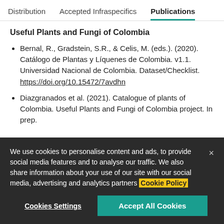Distribution   Accepted Infraspecifics   Publications
Useful Plants and Fungi of Colombia
Bernal, R., Gradstein, S.R., & Celis, M. (eds.). (2020). Catálogo de Plantas y Líquenes de Colombia. v1.1. Universidad Nacional de Colombia. Dataset/Checklist. https://doi.org/10.15472/7avdhn
Diazgranados et al. (2021). Catalogue of plants of Colombia. Useful Plants and Fungi of Colombia project. In prep.
We use cookies to personalise content and ads, to provide social media features and to analyse our traffic. We also share information about your use of our site with our social media, advertising and analytics partners Cookie Policy
Cookies Settings   Accept All Cookies